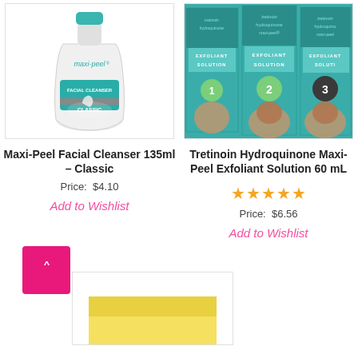[Figure (photo): Maxi-Peel Facial Cleanser 135ml Classic bottle, white bottle with teal label]
[Figure (photo): Tretinoin Hydroquinone Maxi-Peel Exfoliant Solution 60mL boxes, teal packaging showing multiple variants]
Maxi-Peel Facial Cleanser 135ml – Classic
Price:  $4.10
Add to Wishlist
Tretinoin Hydroquinone Maxi-Peel Exfoliant Solution 60 mL
★★★★★
Price:  $6.56
Add to Wishlist
[Figure (photo): Partial view of a third product at the bottom of the page, yellow packaging partially visible]